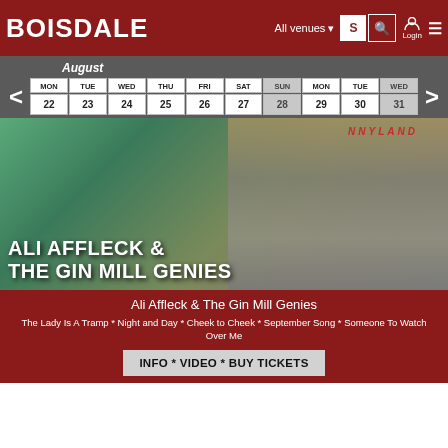BOISDALE  All venues   S  Login
August
| MON | TUE | WED | THU | FRI | SAT | SUN | MON | TUE | WED |
| --- | --- | --- | --- | --- | --- | --- | --- | --- | --- |
| 22 | 23 | 24 | 25 | 26 | 27 | 28 | 29 | 30 | 31 |
[Figure (photo): Ali Affleck playing a washboard instrument, with Sunnyland sign visible in background. Bold white text overlay reads ALI AFFLECK & THE GIN MILL GENIES]
Ali Affleck & The Gin Mill Genies
The Lady Is A Tramp * Night and Day * Cheek to Cheek * September Song * Someone To Watch Over Me
INFO * VIDEO * BUY TICKETS